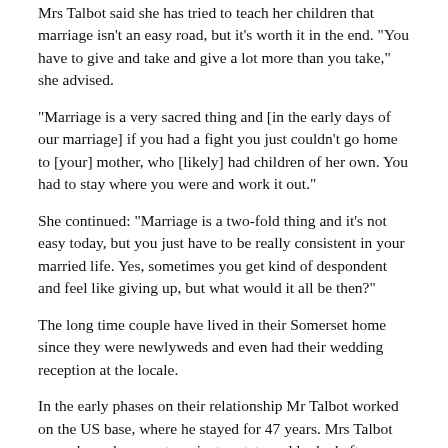Mrs Talbot said she has tried to teach her children that marriage isn't an easy road, but it's worth it in the end. "You have to give and take and give a lot more than you take," she advised.
“Marriage is a very sacred thing and [in the early days of our marriage] if you had a fight you just couldn't go home to [your] mother, who [likely] had children of her own. You had to stay where you were and work it out."
She continued: “Marriage is a two-fold thing and it's not easy today, but you just have to be really consistent in your married life. Yes, sometimes you get kind of despondent and feel like giving up, but what would it all be then?"
The long time couple have lived in their Somerset home since they were newlyweds and even had their wedding reception at the locale.
In the early phases on their relationship Mr Talbot worked on the US base, where he stayed for 47 years. Mrs Talbot was a housekeeper at a private estate and looked after tourists who visited there.
To this day they still have a lot in common. Both enjoy dancing and spending time entertaining friends and family.